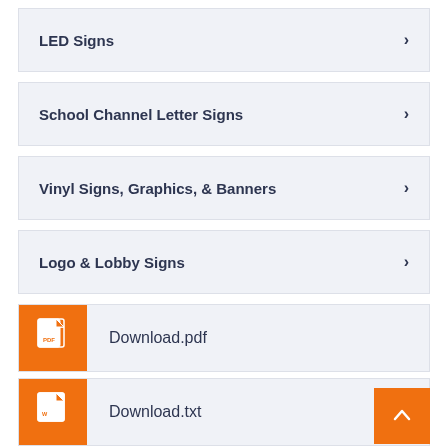LED Signs
School Channel Letter Signs
Vinyl Signs, Graphics, & Banners
Logo & Lobby Signs
Download.pdf
Download.txt